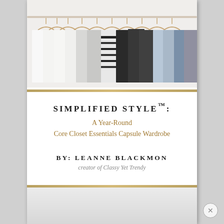[Figure (photo): A clothing rack with garments hanging on wooden hangers — white shirts on the left, gray and striped items in the middle, dark charcoal, black, and light blue/denim items on the right. Clean, minimal wardrobe display against a light background.]
SIMPLIFIED STYLE™:
A Year-Round
Core Closet Essentials Capsule Wardrobe
BY: LEANNE BLACKMON
creator of Classy Yet Trendy